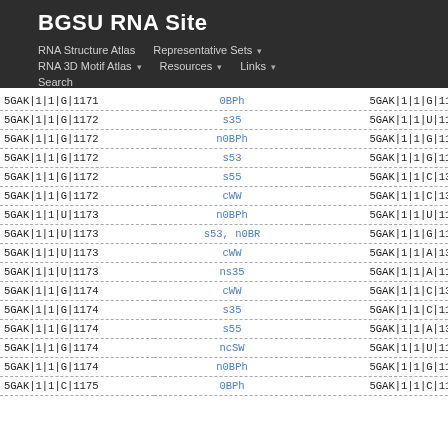BGSU RNA Site
RNA Structure Atlas   Representative Sets ▾   RNA 3D Motif Atlas ▾   Resources ▾   Links ▾   Search
| Nucleotide 1 | Interaction | Nucleotide 2 |
| --- | --- | --- |
| 5GAK|1|1|G|1171 | 0BPh | 5GAK|1|1|G|1171 |
| 5GAK|1|1|G|1172 | s35 | 5GAK|1|1|U|1173 |
| 5GAK|1|1|G|1172 | n0BPh | 5GAK|1|1|G|1172 |
| 5GAK|1|1|G|1172 | s53 | 5GAK|1|1|G|1171 |
| 5GAK|1|1|G|1172 | s55 | 5GAK|1|1|C|1328 |
| 5GAK|1|1|G|1172 | cWW | 5GAK|1|1|C|1327 |
| 5GAK|1|1|U|1173 | n0BPh | 5GAK|1|1|U|1173 |
| 5GAK|1|1|U|1173 | s53, n0BR | 5GAK|1|1|G|1172 |
| 5GAK|1|1|U|1173 | cWW | 5GAK|1|1|A|1326 |
| 5GAK|1|1|U|1173 | ns35 | 5GAK|1|1|A|1180 |
| 5GAK|1|1|G|1174 | cWW | 5GAK|1|1|C|1312 |
| 5GAK|1|1|G|1174 | s35 | 5GAK|1|1|C|1175 |
| 5GAK|1|1|G|1174 | s55 | 5GAK|1|1|A|1318 |
| 5GAK|1|1|G|1174 | ncSW | 5GAK|1|1|U|1181 |
| 5GAK|1|1|G|1174 | n0BPh | 5GAK|1|1|G|1174 |
| 5GAK|1|1|C|1175 | 0BPh | 5GAK|1|1|C|1175 |